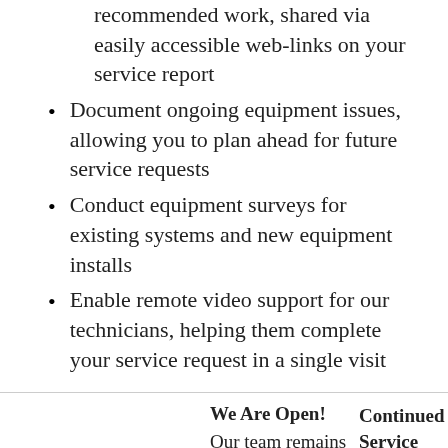recommended work, shared via easily accessible web-links on your service report
Document ongoing equipment issues, allowing you to plan ahead for future service requests
Conduct equipment surveys for existing systems and new equipment installs
Enable remote video support for our technicians, helping them complete your service request in a single visit
We Are Open!
Our team remains active and is happy
Remote Support
To help minimize the
Continued Service
Despite